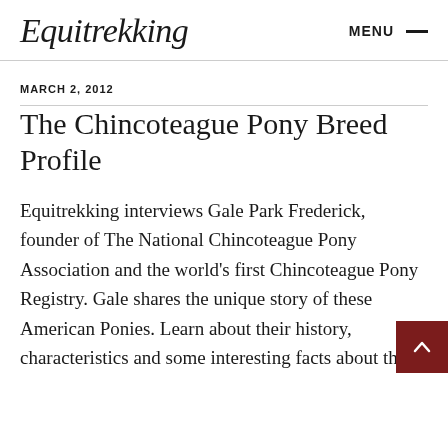Equitrekking   MENU —
MARCH 2, 2012
The Chincoteague Pony Breed Profile
Equitrekking interviews Gale Park Frederick, founder of The National Chincoteague Pony Association and the world's first Chincoteague Pony Registry. Gale shares the unique story of these American Ponies. Learn about their history, characteristics and some interesting facts about th...